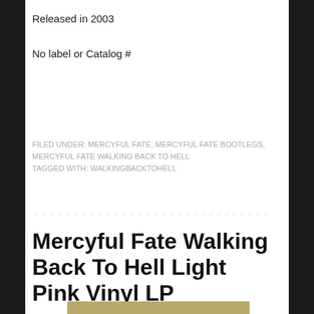Released in 2003
No label or Catalog #
FILED UNDER: MERCYFUL FATE, MERCYFUL FATE BOOTLEGS, MERCYFUL FATE WALKING BACK TO HELL
TAGGED WITH: WALKINGBACKTOHELL
Mercyful Fate Walking Back To Hell Light Pink Vinyl LP
[Figure (photo): Partial view of album cover at the bottom of the page]